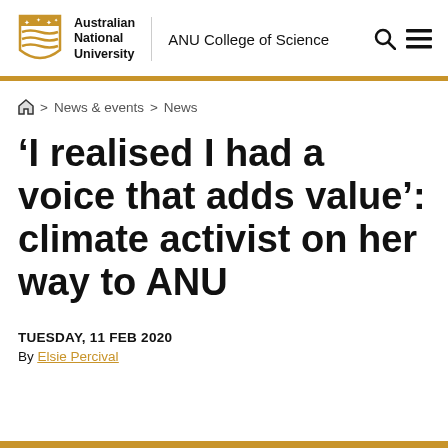Australian National University | ANU College of Science
Home > News & events > News
'I realised I had a voice that adds value': climate activist on her way to ANU
TUESDAY, 11 FEB 2020
By Elsie Percival